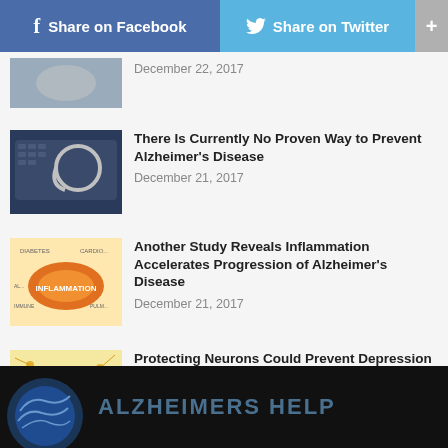Share on Facebook | Share on Twitter | +
[Figure (photo): Partial thumbnail of an article image, partially visible at top]
December 22, 2017
[Figure (photo): Stethoscope on a keyboard illustration]
There Is Currently No Proven Way to Prevent Alzheimer's Disease
December 21, 2017
[Figure (photo): Inflammation label with orange oval, surrounded by medical condition words]
Another Study Reveals Inflammation Accelerates Progression of Alzheimer's Disease
December 21, 2017
[Figure (photo): Neural network / neuron illustration on yellow background]
Protecting Neurons Could Prevent Depression and Cognitive Deterioration Caused by Alzheimer's
November 8, 2017
ALZHEIMERS HELP